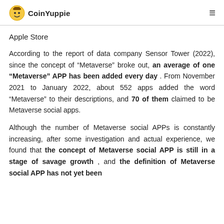CoinYuppie
Apple Store
According to the report of data company Sensor Tower (2022), since the concept of “Metaverse” broke out, an average of one “Metaverse” APP has been added every day . From November 2021 to January 2022, about 552 apps added the word “Metaverse” to their descriptions, and 70 of them claimed to be Metaverse social apps.
Although the number of Metaverse social APPs is constantly increasing, after some investigation and actual experience, we found that the concept of Metaverse social APP is still in a stage of savage growth , and the definition of Metaverse social APP has not yet been officially finalized.